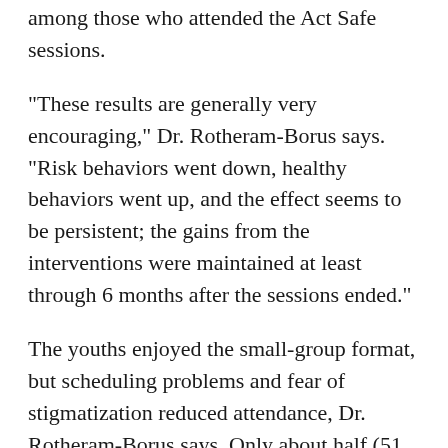among those who attended the Act Safe sessions.
"These results are generally very encouraging," Dr. Rotheram-Borus says. "Risk behaviors went down, healthy behaviors went up, and the effect seems to be persistent; the gains from the interventions were maintained at least through 6 months after the sessions ended."
The youths enjoyed the small-group format, but scheduling problems and fear of stigmatization reduced attendance, Dr. Rotheram-Borus says. Only about half (51 percent) of the participants attended 6 or more of the 12 Stay Healthy sessions, and 53 percent attended 5 or more of the 11 Act Safe sessions.
"These interventions work. The next step is to develop